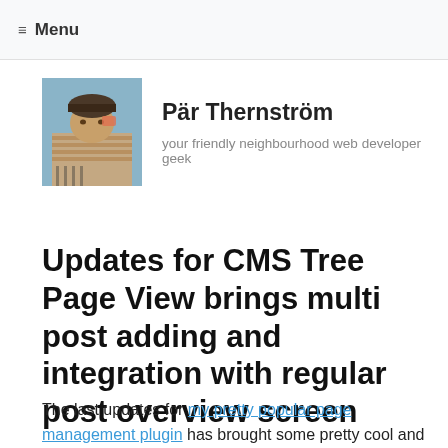≡ Menu
Pär Thernström
your friendly neighbourhood web developer geek
Updates for CMS Tree Page View brings multi post adding and integration with regular post overview screen
The last updates for my pretty popular page management plugin has brought some pretty cool and useful functions that I thought were worth noticing: